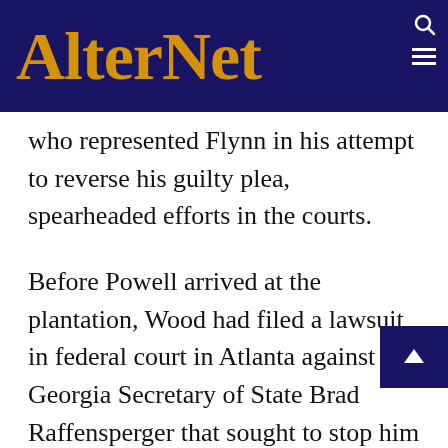AlterNet
who represented Flynn in his attempt to reverse his guilty plea, spearheaded efforts in the courts.
Before Powell arrived at the plantation, Wood had filed a lawsuit in federal court in Atlanta against Georgia Secretary of State Brad Raffensperger that sought to stop him from certifying Biden’s victory. Soon after Powell showed up, Wood submitted an anonymized declaration from Salazar as evidence of how the election was corrupted. He then filed an